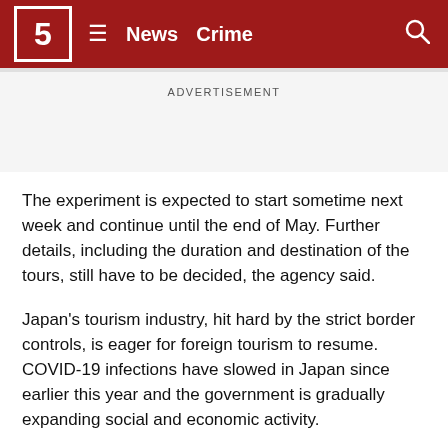5  ≡  News  Crime  🔍
ADVERTISEMENT
The experiment is expected to start sometime next week and continue until the end of May. Further details, including the duration and destination of the tours, still have to be decided, the agency said.
Japan's tourism industry, hit hard by the strict border controls, is eager for foreign tourism to resume. COVID-19 infections have slowed in Japan since earlier this year and the government is gradually expanding social and economic activity.
After facing criticism that its strict border controls were